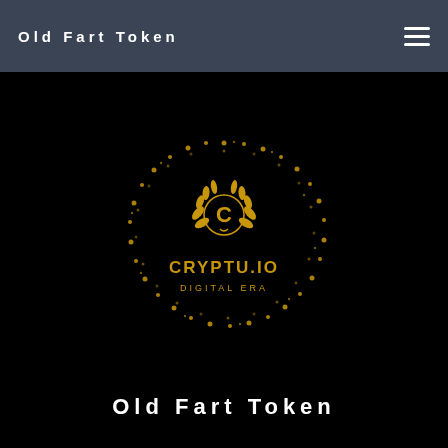Old Fart Token
[Figure (logo): CRYPTU.IO DIGITAL ERA logo: a golden circular sparkle/dot ring border with a laurel wreath and letter C in center, with text CRYPTU.IO and DIGITAL ERA below on black background]
Old Fart Token